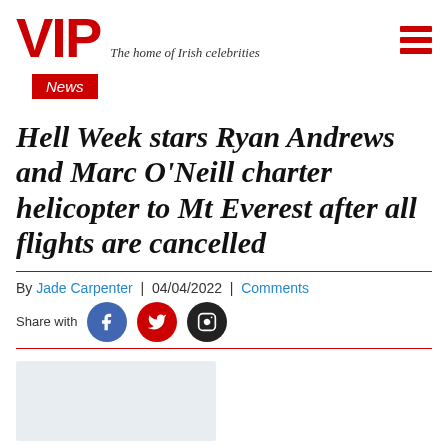VIP — The home of Irish celebrities
News
Hell Week stars Ryan Andrews and Marc O'Neill charter helicopter to Mt Everest after all flights are cancelled
By Jade Carpenter | 04/04/2022 | Comments
Share with [Facebook] [Twitter] [Instagram]